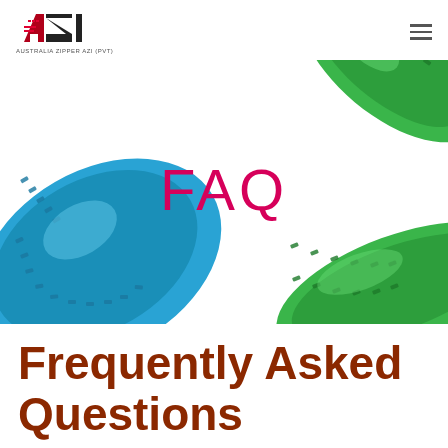Australia Zipper AZI (Pvt)
[Figure (photo): Hero banner image showing a blue nylon zipper coil on the left side and green nylon zipper coils on the upper right and lower right, with a white background center. The word FAQ appears in the center in magenta/pink text.]
Frequently Asked Questions